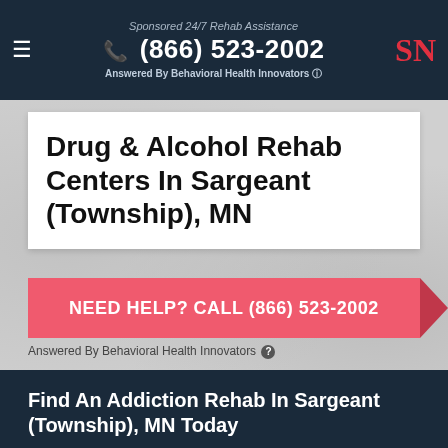Sponsored 24/7 Rehab Assistance | (866) 523-2002 | Answered By Behavioral Health Innovators
Drug & Alcohol Rehab Centers In Sargeant (Township), MN
NEED HELP? CALL (866) 523-2002
Answered By Behavioral Health Innovators
Find An Addiction Rehab In Sargeant (Township), MN Today
It is imperative that you call now for a free confidential assessment for drug & alcohol rehab centers in Sargeant (Township), MN. We are